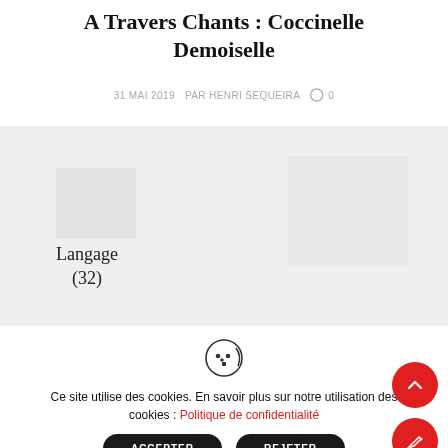A Travers Chants : Coccinelle Demoiselle
31 MAI 2019  PAR HENRI SEQUEIRA  0
[Figure (other): Light grey background placeholder image with watermark shapes and category label 'Langage (32)']
Ce site utilise des cookies. En savoir plus sur notre utilisation des cookies : Politique de confidentialité
ACCEPTER    REJETER